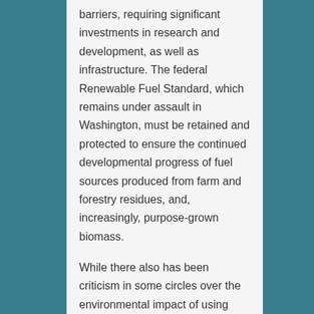barriers, requiring significant investments in research and development, as well as infrastructure. The federal Renewable Fuel Standard, which remains under assault in Washington, must be retained and protected to ensure the continued developmental progress of fuel sources produced from farm and forestry residues, and, increasingly, purpose-grown biomass.
While there also has been criticism in some circles over the environmental impact of using biomass as an energy source, the 25x'25 Alliance believes that developing biomass